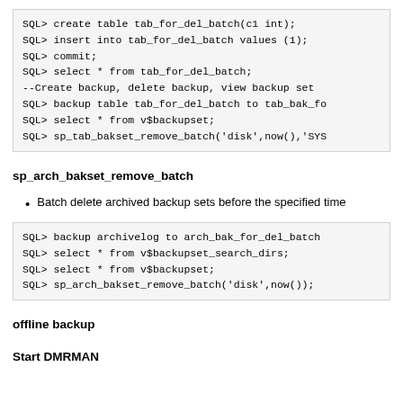SQL> create table tab_for_del_batch(c1 int);
SQL> insert into tab_for_del_batch values (1);
SQL> commit;
SQL> select * from tab_for_del_batch;
--Create backup, delete backup, view backup set
SQL> backup table tab_for_del_batch to tab_bak_fo
SQL> select * from v$backupset;
SQL> sp_tab_bakset_remove_batch('disk',now(),'SYS
sp_arch_bakset_remove_batch
Batch delete archived backup sets before the specified time
SQL> backup archivelog to arch_bak_for_del_batch
SQL> select * from v$backupset_search_dirs;
SQL> select * from v$backupset;
SQL> sp_arch_bakset_remove_batch('disk',now());
offline backup
Start DMRMAN